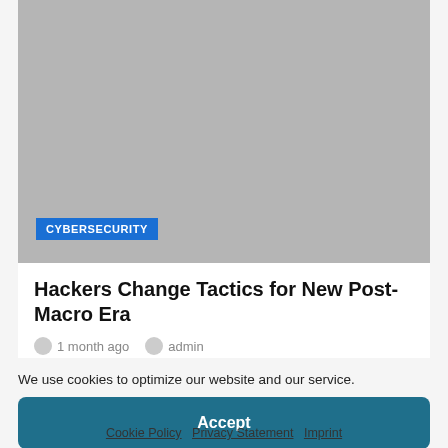[Figure (photo): Gray placeholder image for a cybersecurity article]
CYBERSECURITY
Hackers Change Tactics for New Post-Macro Era
1 month ago   admin
We use cookies to optimize our website and our service.
Accept
Cookie Policy   Privacy Statement   Imprint